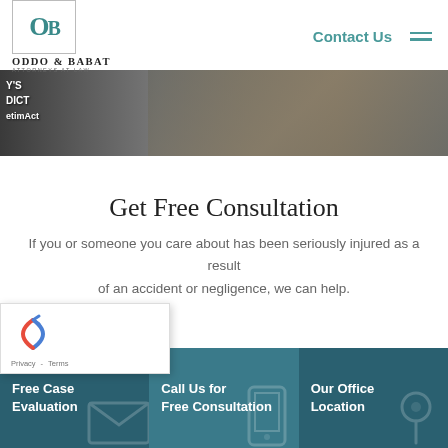[Figure (logo): Oddo & Babat Attorneys at Law logo with OB monogram in teal]
Contact Us
[Figure (photo): Partial hero image showing a person in a suit holding documents/phone, with text overlay showing Y'S, DICT, etimAct]
Get Free Consultation
If you or someone you care about has been seriously injured as a result of an accident or negligence, we can help.
[Figure (other): reCAPTCHA widget with arrows icon and Privacy - Terms links]
Free Case Evaluation
Call Us for Free Consultation
Our Office Location